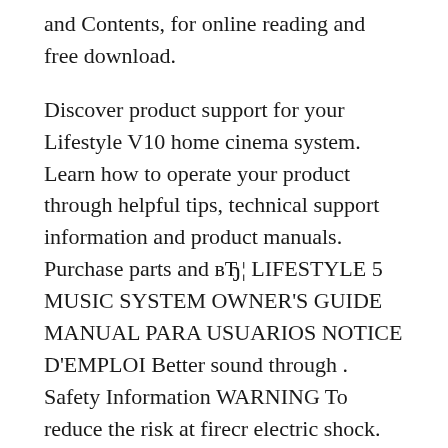and Contents, for online reading and free download.
Discover product support for your Lifestyle V10 home cinema system. Learn how to operate your product through helpful tips, technical support information and product manuals. Purchase parts and вЂ¦ LIFESTYLE 5 MUSIC SYSTEM OWNER'S GUIDE MANUAL PARA USUARIOS NOTICE D'EMPLOI Better sound through . Safety Information WARNING To reduce the risk at firecr electric shock. do not expose this system to rain or moisture, CAUTION Do rot remove the cover of Wur Lifestyle' music center ar Acoustirnassv powered speaker system. There are no user- serviceable parts